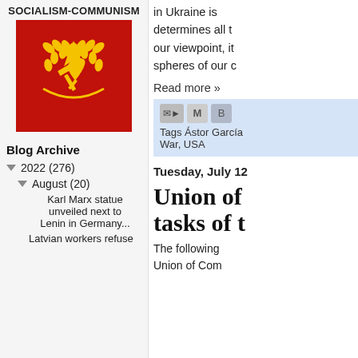SOCIALISM-COMMUNISM
[Figure (illustration): Soviet hammer and sickle emblem with star on red background]
Blog Archive
▼ 2022 (276)
▼ August (20)
Karl Marx statue unveiled next to Lenin in Germany...
Latvian workers refuse
in Ukraine is determines all t our viewpoint, it spheres of our c
Read more »
Tags Ástor García War, USA
Tuesday, July 12
Union of tasks of t
The following Union of Com